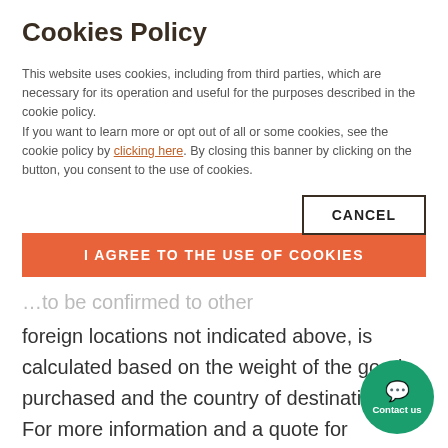Cookies Policy
This website uses cookies, including from third parties, which are necessary for its operation and useful for the purposes described in the cookie policy.
If you want to learn more or opt out of all or some cookies, see the cookie policy by clicking here. By closing this banner by clicking on the button, you consent to the use of cookies.
CANCEL
I AGREE TO THE USE OF COOKIES
foreign locations not indicated above, is calculated based on the weight of the goods purchased and the country of destination.
For more information and a quote for shipping costs, contact info@armonieitaliane.it